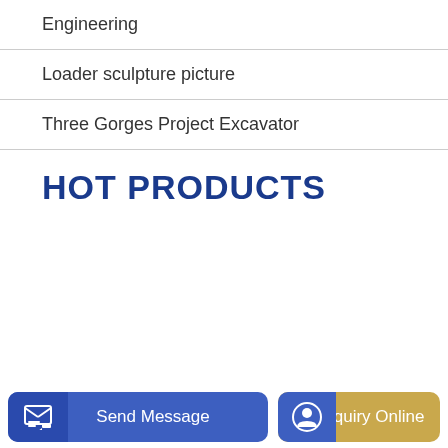Engineering
Loader sculpture picture
Three Gorges Project Excavator
HOT PRODUCTS
Send Message | Inquiry Online